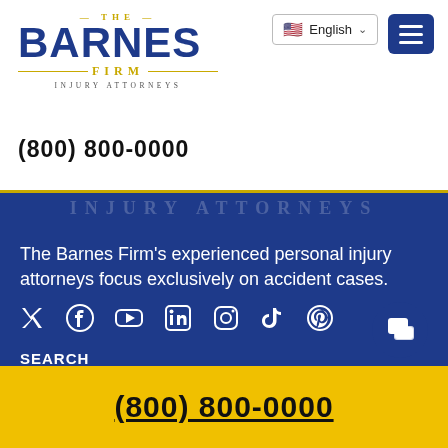[Figure (logo): The Barnes Firm Injury Attorneys logo with gold and navy blue text]
English
(800) 800-0000
INJURY ATTORNEYS
The Barnes Firm's experienced personal injury attorneys focus exclusively on accident cases.
[Figure (infographic): Social media icons: Twitter, Facebook, YouTube, LinkedIn, Instagram, TikTok, Pinterest]
SEARCH
type to search and hit enter
RESULTS
(800) 800-0000